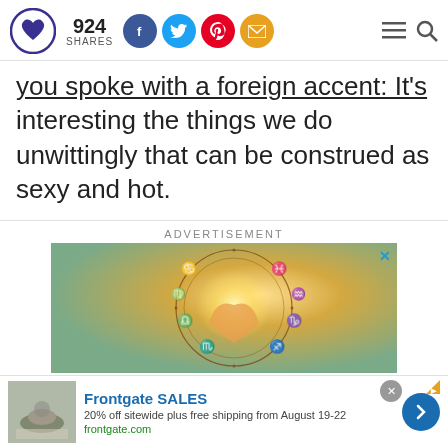924 SHARES [social icons: Facebook, Twitter, Pinterest, Email] [hamburger menu, search]
you spoke with a foreign accent: It's interesting the things we do unwittingly that can be construed as sexy and hot.
ADVERTISEMENT
[Figure (photo): Advertisement image showing two hands forming a heart shape with zodiac/astrology wheel overlay, with bright golden light in center]
Frontgate SALES
20% off sitewide plus free shipping from August 19-22
frontgate.com